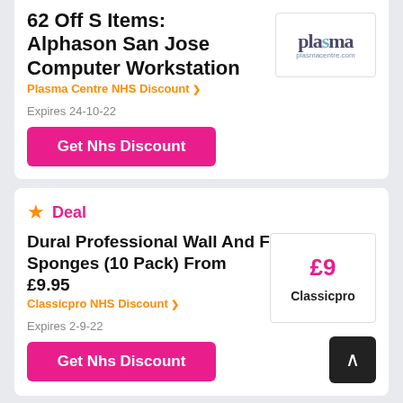62 Off S Items: Alphason San Jose Computer Workstation
Plasma Centre NHS Discount
Expires 24-10-22
Get Nhs Discount
[Figure (logo): Plasma Centre logo with stylized text 'plasma' and website plasmacentre.com]
Deal
Dural Professional Wall And Floor Grout Sponges (10 Pack) From £9.95
Classicpro NHS Discount
Expires 2-9-22
Get Nhs Discount
[Figure (other): Price box showing £9 in pink and Classicpro brand name]
Deal
Check Allthatsparklesglitter For The